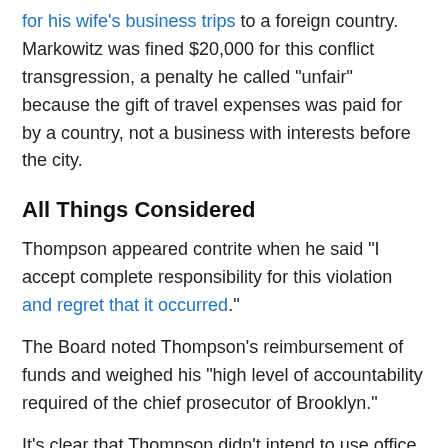for his wife's business trips to a foreign country. Markowitz was fined $20,000 for this conflict transgression, a penalty he called "unfair" because the gift of travel expenses was paid for by a country, not a business with interests before the city.
All Things Considered
Thompson appeared contrite when he said "I accept complete responsibility for this violation and regret that it occurred."
The Board noted Thompson's reimbursement of funds and weighed his "high level of accountability required of the chief prosecutor of Brooklyn."
It's clear that Thompson didn't intend to use office funds to bankroll a luxury lifestyle. According to a source familiar with the DA's eating habits, Mr. Thompson typically ate